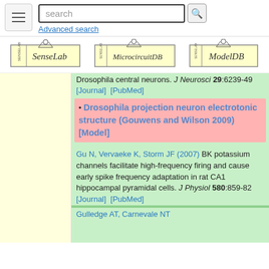[Figure (screenshot): Page header with hamburger menu button, search box with search icon, and Advanced search link]
[Figure (logo): SenseLab logo]
[Figure (logo): MicrocircuitDB logo]
[Figure (logo): ModelDB logo]
Drosophila central neurons. J Neurosci 29:6239-49 [Journal] [PubMed]
Drosophila projection neuron electrotonic structure (Gouwens and Wilson 2009) [Model]
Gu N, Vervaeke K, Storm JF (2007) BK potassium channels facilitate high-frequency firing and cause early spike frequency adaptation in rat CA1 hippocampal pyramidal cells. J Physiol 580:859-82 [Journal] [PubMed]
Gulledge AT, Carnevale NT